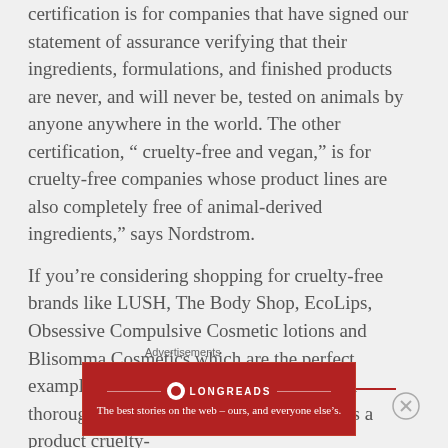certification is for companies that have signed our statement of assurance verifying that their ingredients, formulations, and finished products are never, and will never be, tested on animals by anyone anywhere in the world. The other certification, “ cruelty-free and vegan,” is for cruelty-free companies whose product lines are also completely free of animal-derived ingredients,” says Nordstrom.
If you’re considering shopping for cruelty-free brands like LUSH, The Body Shop, EcoLips, Obsessive Compulsive Cosmetic lotions and Blisomma Cosmetics which are the perfect examples of a cruelty-free line, be sure you thoroughly educate yourself on what makes a product cruelty-
Advertisements
[Figure (other): Longreads advertisement banner with red background. Logo with circle, brand name LONGREADS, and tagline: The best stories on the web — ours, and everyone else's.]